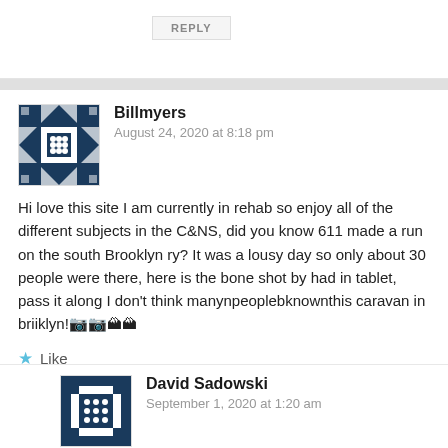REPLY
Billmyers
August 24, 2020 at 8:18 pm
Hi love this site I am currently in rehab so enjoy all of the different subjects in the C&NS, did you know 611 made a run on the south Brooklyn ry? It was a lousy day so only about 30 people were there, here is the bone shot by had in tablet, pass it along I don’t think manynpeoplebknownthis caravan in briiklyn!📷📷🏔🏔
Like
REPLY
David Sadowski
September 1, 2020 at 1:20 am